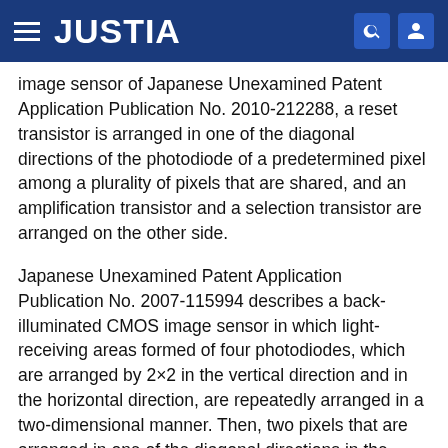JUSTIA
image sensor of Japanese Unexamined Patent Application Publication No. 2010-212288, a reset transistor is arranged in one of the diagonal directions of the photodiode of a predetermined pixel among a plurality of pixels that are shared, and an amplification transistor and a selection transistor are arranged on the other side.
Japanese Unexamined Patent Application Publication No. 2007-115994 describes a back-illuminated CMOS image sensor in which light-receiving areas formed of four photodiodes, which are arranged by 2×2 in the vertical direction and in the horizontal direction, are repeatedly arranged in a two-dimensional manner. Then, two pixels that are arranged in one of the diagonal directions in the predetermined first light-receiving area, and two pixels that are arranged in one of the diagonal